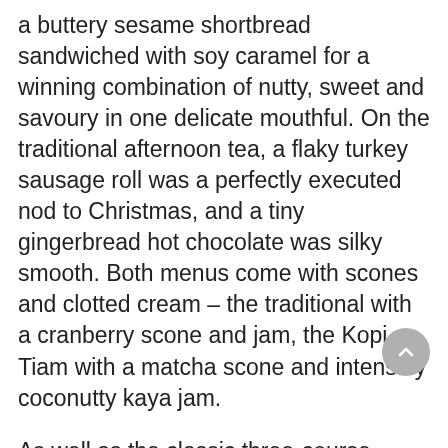a buttery sesame shortbread sandwiched with soy caramel for a winning combination of nutty, sweet and savoury in one delicate mouthful. On the traditional afternoon tea, a flaky turkey sausage roll was a perfectly executed nod to Christmas, and a tiny gingerbread hot chocolate was silky smooth. Both menus come with scones and clotted cream – the traditional with a cranberry scone and jam, the Kopi Tiam with a matcha scone and intensely coconutty kaya jam.
As well as the classic three-course afternoon tea (savouries, scones, patisserie), there are extras tucked within the experience – we won't spoil the surprise of the intriguing amuse-bouche illusion that kicks it all off. The final course of the patisserie is where the tea comes into its own, with four stunningly intricate creations. From a pistachio Christmas tree to a decadent chocolate bauble, it's the perfect end to a luxurious experience. Our favourite was